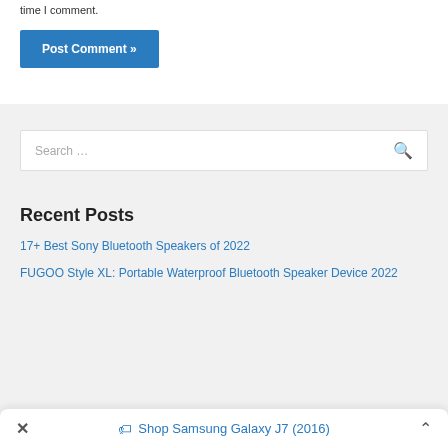time I comment.
Post Comment »
Search …
Recent Posts
17+ Best Sony Bluetooth Speakers of 2022
FUGOO Style XL: Portable Waterproof Bluetooth Speaker Device 2022
Shop Samsung Galaxy J7 (2016)